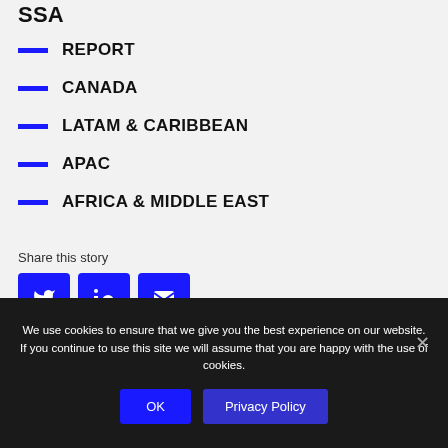SSA
REPORT
CANADA
LATAM & CARIBBEAN
APAC
AFRICA & MIDDLE EAST
Share this story
We use cookies to ensure that we give you the best experience on our website. If you continue to use this site we will assume that you are happy with the use of cookies.